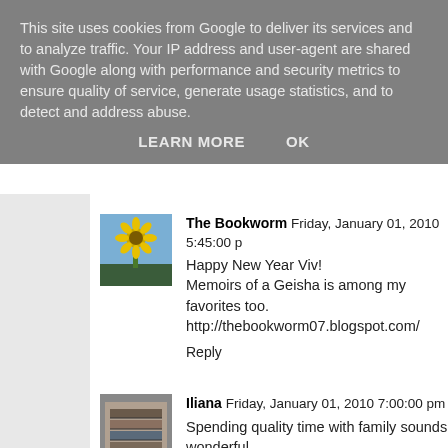This site uses cookies from Google to deliver its services and to analyze traffic. Your IP address and user-agent are shared with Google along with performance and security metrics to ensure quality of service, generate usage statistics, and to detect and address abuse.
LEARN MORE    OK
The Bookworm  Friday, January 01, 2010 5:45:00 p
Happy New Year Viv!
Memoirs of a Geisha is among my favorites too.
http://thebookworm07.blogspot.com/
Reply
Iliana  Friday, January 01, 2010 7:00:00 pm
Spending quality time with family sounds wonderful
Loved reading your list and I have to say Enchanted